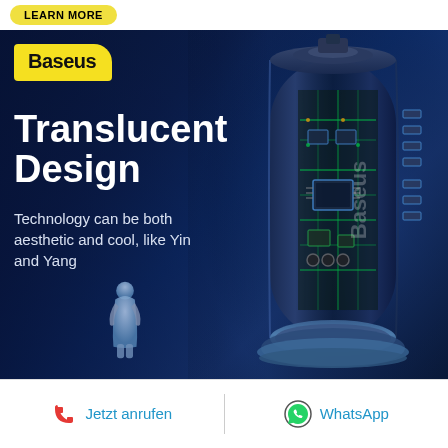LEARN MORE
[Figure (photo): Baseus translucent cylindrical tech product with visible circuit board interior, illuminated in blue tones, with a small 3D human figure in the foreground on a dark blue gradient background]
Translucent Design
Technology can be both aesthetic and cool, like Yin and Yang
Jetzt anrufen
WhatsApp